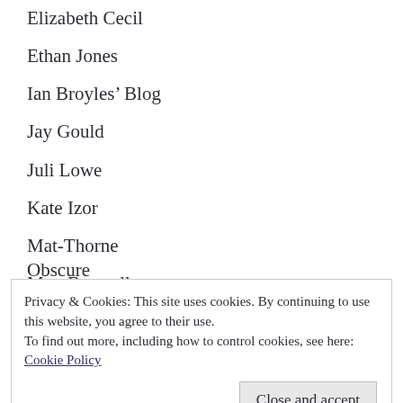Elizabeth Cecil
Ethan Jones
Ian Broyles’ Blog
Jay Gould
Juli Lowe
Kate Izor
Mat-Thorne
Matt Bagwell
Morrigan McCarthy
Obscure
Privacy & Cookies: This site uses cookies. By continuing to use this website, you agree to their use.
To find out more, including how to control cookies, see here: Cookie Policy
Close and accept